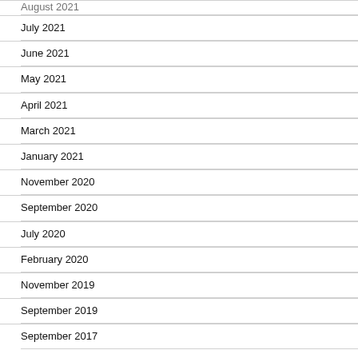August 2021
July 2021
June 2021
May 2021
April 2021
March 2021
January 2021
November 2020
September 2020
July 2020
February 2020
November 2019
September 2019
September 2017